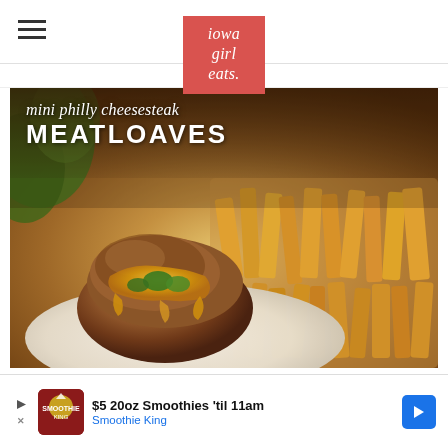iowa girl eats.
This post... affiliate links.
[Figure (photo): Mini philly cheesesteak meatloaves food photo with text overlay. Shows a meatloaf topped with melted cheese and peppers on a white plate, with crinkle fries in the background. Text overlay reads: 'mini philly cheesesteak MEATLOAVES']
$5 20oz Smoothies 'til 11am
Smoothie King